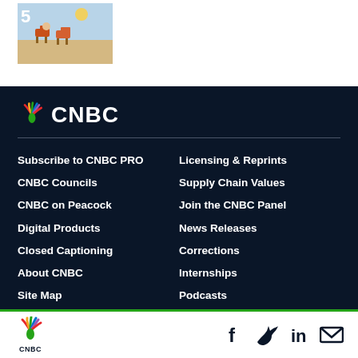[Figure (photo): Thumbnail image numbered 5 showing beach chairs on a sandy beach]
[Figure (logo): CNBC logo with peacock icon and white CNBC text on dark navy background]
Subscribe to CNBC PRO
CNBC Councils
CNBC on Peacock
Digital Products
Closed Captioning
About CNBC
Site Map
Licensing & Reprints
Supply Chain Values
Join the CNBC Panel
News Releases
Corrections
Internships
Podcasts
CNBC logo and social media icons (Facebook, Twitter, LinkedIn, Email)